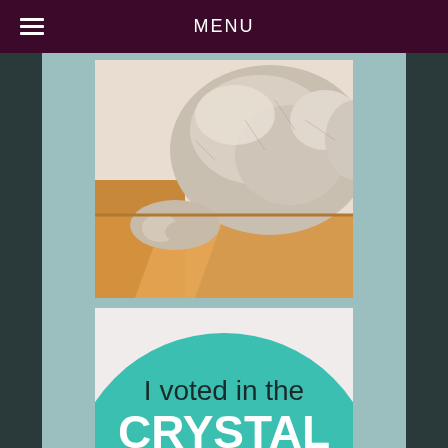MENU
[Figure (photo): Close-up photo of a fluffy grey/beige long-haired cat lying in a cardboard box, with warm wooden surface visible below]
[Figure (illustration): Round teal/turquoise badge with text 'I voted in the CRYSTAL' in dark and white letters on teal background]